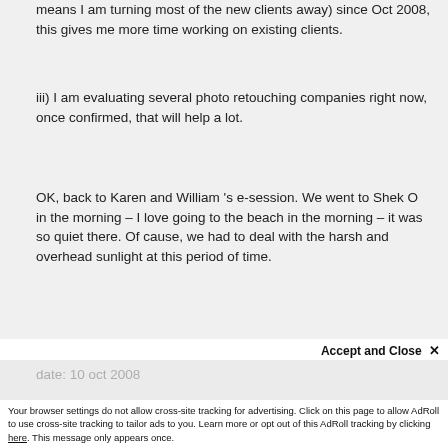means I am turning most of the new clients away) since Oct 2008, this gives me more time working on existing clients.
iii) I am evaluating several photo retouching companies right now, once confirmed, that will help a lot.
OK, back to Karen and William 's e-session. We went to Shek O in the morning – I love going to the beach in the morning – it was so quiet there. Of cause, we had to deal with the harsh and overhead sunlight at this period of time.
date: 10 oct 2008
Accept and Close ×
Your browser settings do not allow cross-site tracking for advertising. Click on this page to allow AdRoll to use cross-site tracking to tailor ads to you. Learn more or opt out of this AdRoll tracking by clicking here. This message only appears once.